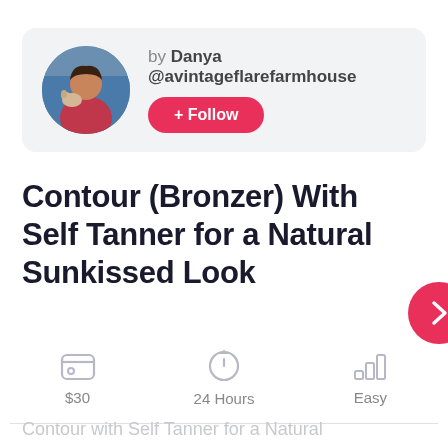[Figure (photo): Author profile card with circular avatar photo of a woman holding a small dog, by Danya @avintageflarefarmhouse with a pink Follow button]
Contour (Bronzer) With Self Tanner for a Natural Sunkissed Look
$30  24 Hours  Easy
Contour with Self Tanner for a Natural